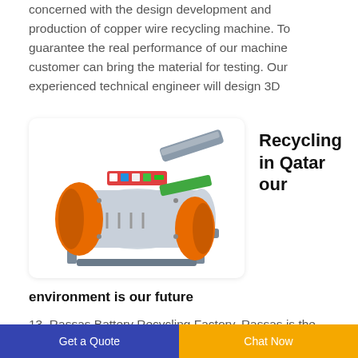concerned with the design development and production of copper wire recycling machine. To guarantee the real performance of our machine customer can bring the material for testing. Our experienced technical engineer will design 3D
[Figure (photo): Orange and grey copper wire recycling machine with conveyor belt and metal frame, shown on white background]
Recycling
in Qatar
our
environment is our future
13. Rassas Battery Recycling Factory. Rassas is the
Get a Quote   Chat Now